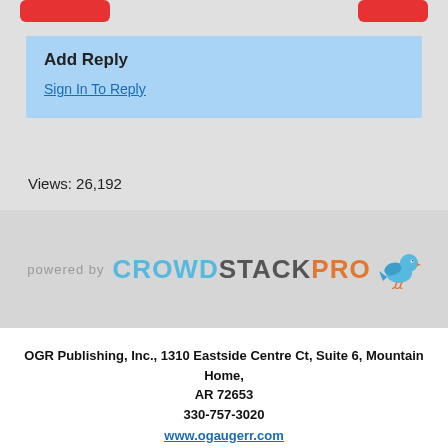Add Reply
Sign In To Reply
Views: 26,192
[Figure (logo): powered by CROWDSTACKPRO logo with bird icon]
OGR Publishing, Inc., 1310 Eastside Centre Ct, Suite 6, Mountain Home, AR 72653
330-757-3020
www.ogaugerr.com